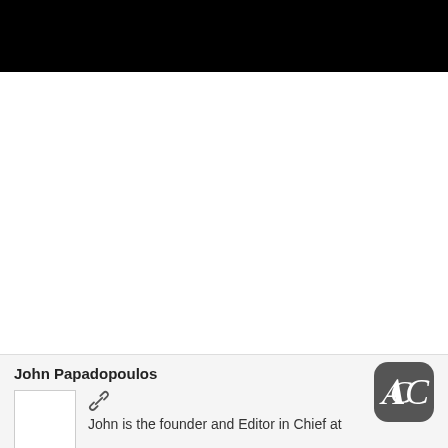[Figure (photo): Black banner image at the top of the page]
John Papadopoulos
[Figure (logo): Dark rounded square logo with a crescent C letter in white]
John is the founder and Editor in Chief at